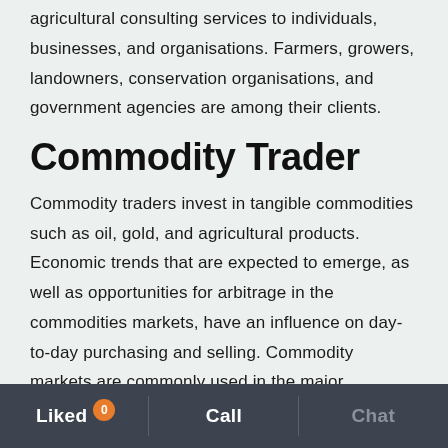agricultural consulting services to individuals, businesses, and organisations. Farmers, growers, landowners, conservation organisations, and government agencies are among their clients.
Commodity Trader
Commodity traders invest in tangible commodities such as oil, gold, and agricultural products. Economic trends that are expected to emerge, as well as opportunities for arbitrage in the commodities markets, have an influence on day-to-day purchasing and selling. Commodity markets are commonly used in the major economic sector, which includes enterprises that profit
Liked 0  Call  Chat